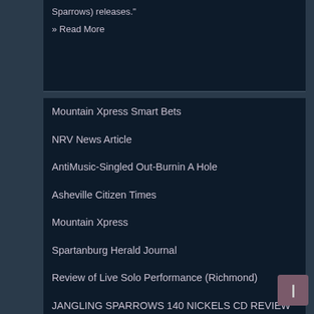Sparrows) releases."
» Read More
Mountain Xpress Smart Bets
NRV News Article
AntiMusic-Singled Out-Burnin A Hole
Asheville Citizen Times
Mountain Xpress
Spartanburg Herald Journal
Review of Live Solo Performance (Richmond)
JANGLING SPARROWS 140 NICKELS CD REVIEW MUSIC CONNECTION
Bristol Herald Courier
Rock N Roll Music Co. feature interview
140 Nickels-Nashville Blues Society review